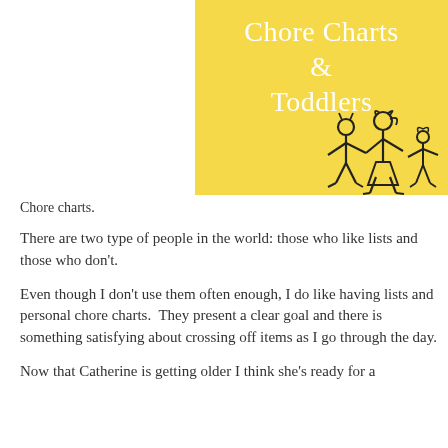[Figure (illustration): Yellow square graphic with white text reading 'Chore Charts & Toddlers' and a stick-figure family illustration at the bottom right]
Chore charts.
There are two type of people in the world: those who like lists and those who don't.
Even though I don't use them often enough, I do like having lists and personal chore charts.  They present a clear goal and there is something satisfying about crossing off items as I go through the day.
Now that Catherine is getting older I think she's ready for a